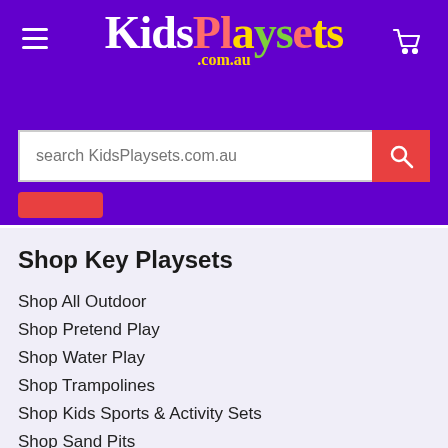[Figure (logo): KidsPlaysets.com.au logo in colorful text on purple background with hamburger menu icon and cart icon]
search KidsPlaysets.com.au
Shop Key Playsets
Shop All Outdoor
Shop Pretend Play
Shop Water Play
Shop Trampolines
Shop Kids Sports & Activity Sets
Shop Sand Pits
Shop Ride On Cars
Shop Metal Detectors